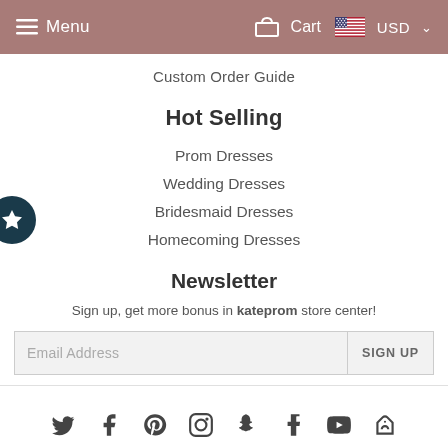Menu | Cart | USD
Custom Order Guide
Hot Selling
Prom Dresses
Wedding Dresses
Bridesmaid Dresses
Homecoming Dresses
Newsletter
Sign up, get more bonus in kateprom store center!
Email Address | SIGN UP
[Figure (other): Social media icons row: Twitter, Facebook, Pinterest, Instagram, Snapchat, Tumblr, YouTube, and another icon]